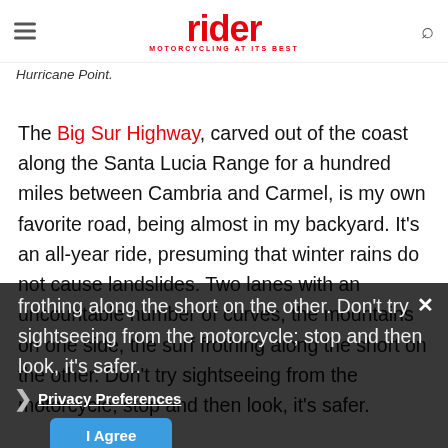rider MOTORCYCLING AT ITS BEST
Hurricane Point.
The Big Sur Highway, carved out of the coast along the Santa Lucia Range for a hundred miles between Cambria and Carmel, is my own favorite road, being almost in my backyard. It's an all-year ride, presuming that winter rains do not cause landslides. Two lanes with an uncountable number of curves, the mountains on one side, the surf frothing along the short on the other. Don't try sightseeing from the motorcycle; stop and then look, it's safer.
Privacy Preferences I Agree